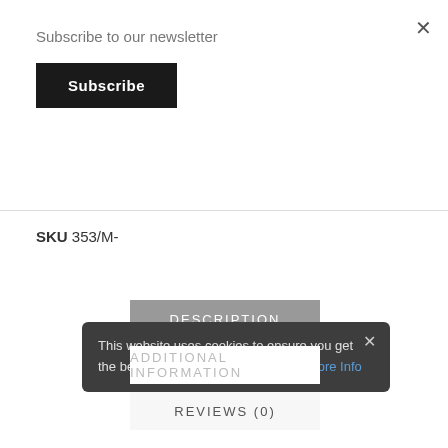Subscribe to our newsletter
Subscribe
SKU 353/M-
DESCRIPTION
ADDITIONAL INFORMATION
REVIEWS (0)
This website uses cookies to ensure you get the best experience on our website. More Info